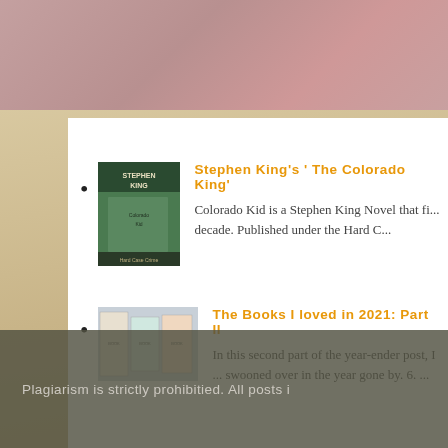[Figure (photo): Top background image with muted brownish-pink tones]
Stephen King's ' The Colorado King' — Colorado Kid is a Stephen King Novel that fi... decade. Published under the Hard C...
The Books I loved in 2021: Part II — In this second part of the year-ender post, I ... swooned over in the year gone by. 6. ...
[Figure (photo): Sandy/beige textured background with text bokeh]
Plagiarism is strictly prohibitied. All posts i